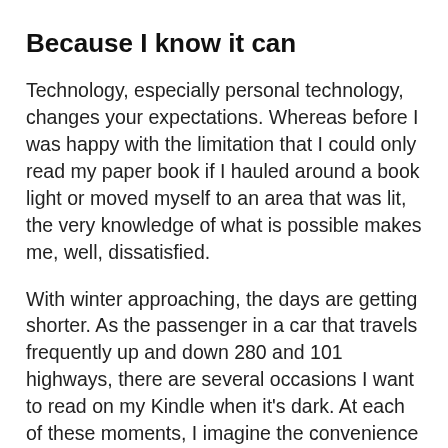Because I know it can
Technology, especially personal technology, changes your expectations. Whereas before I was happy with the limitation that I could only read my paper book if I hauled around a book light or moved myself to an area that was lit, the very knowledge of what is possible makes me, well, dissatisfied.
With winter approaching, the days are getting shorter. As the passenger in a car that travels frequently up and down 280 and 101 highways, there are several occasions I want to read on my Kindle when it's dark. At each of these moments, I imagine the convenience of a lighted Kindle.